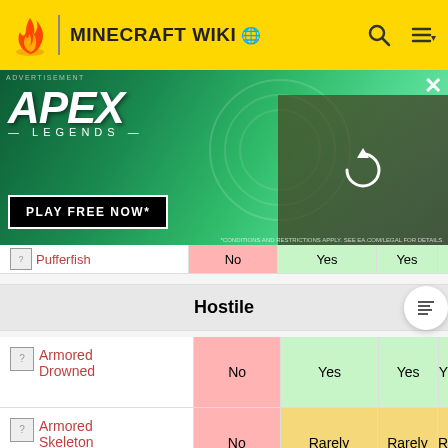MINECRAFT WIKI
[Figure (screenshot): Apex Legends advertisement banner with character holding sniper rifle, green background, 'PLAY FREE NOW' button, and a right panel showing another character with a loading spinner]
| Mob | Spawns on surface | Spawns underground | Spawns in water | ... |
| --- | --- | --- | --- | --- |
| Pufferfish | No | Yes | Yes | ... |
| Hostile (section header) |  |  |  |  |
| Armored Drowned | No | Yes | Yes | Y |
| Armored Skeleton | No | Rarely | Rarely | R |
| Armored Sunken Skeleton | No | Yes | Yes | Y |